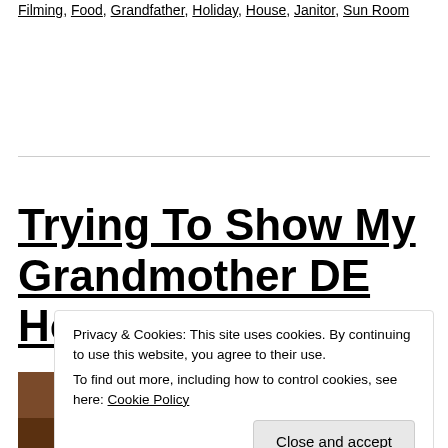Filming, Food, Grandfather, Holiday, House, Janitor, Sun Room
Trying To Show My Grandmother DE How
Privacy & Cookies: This site uses cookies. By continuing to use this website, you agree to their use. To find out more, including how to control cookies, see here: Cookie Policy
Close and accept
[Figure (photo): Bottom portion of an image showing a dark/brown background, partially visible]